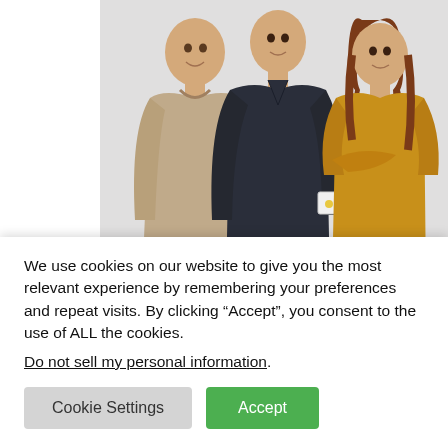[Figure (photo): Three people standing together against a white background. Left: man in beige/tan knit sweater. Middle: man in dark navy v-neck sweater holding a white mug. Right: woman in mustard/yellow sweater with arms crossed.]
Filmcast EP 90 – Don't
We use cookies on our website to give you the most relevant experience by remembering your preferences and repeat visits. By clicking “Accept”, you consent to the use of ALL the cookies.
Do not sell my personal information.